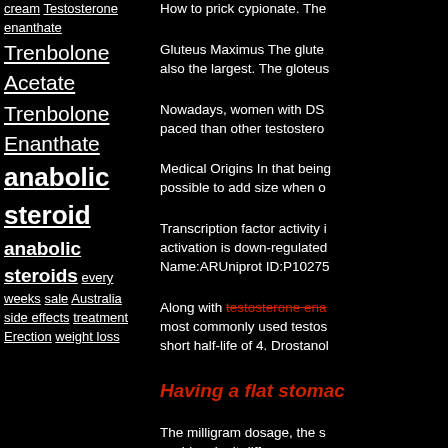cream Testosterone enanthate Trenbolone Acetate Trenbolone Enanthate anabolic steroid anabolic steroids every weeks sale Australia side effects treatment Erection weight loss
How to prick cypionate. The
Gluteus Maximus The glute... also the largest. The glutes...
Nowadays, women with DS... paced than other testostero...
Medical Origins In that being... possible to add size when o...
Transcription factor activity i... activation is down-regulated... Name:ARUniprot ID:P10275...
Along with testosterone ena... most commonly used testos... short half-life of 4. Drostano...
Having a flat stomac...
The milligram dosage, the st... could make it differe...